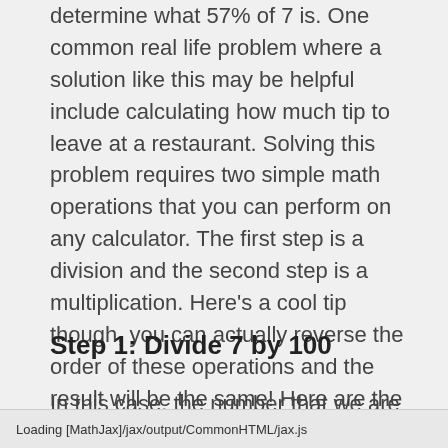determine what 57% of 7 is. One common real life problem where a solution like this may be helpful include calculating how much tip to leave at a restaurant. Solving this problem requires two simple math operations that you can perform on any calculator. The first step is a division and the second step is a multiplication. Here's a cool tip though, you can actually reverse the order of these operations and the result will be the same! Here are the steps:
Step 1: Divide 7 by 100
In this case, the number that we are computing to 1% of, so we must first
Loading [MathJax]/jax/output/CommonHTML/jax.js